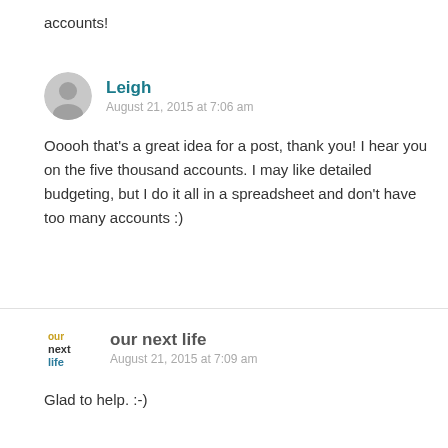accounts!
Leigh
August 21, 2015 at 7:06 am

Ooooh that's a great idea for a post, thank you! I hear you on the five thousand accounts. I may like detailed budgeting, but I do it all in a spreadsheet and don't have too many accounts :)
our next life
August 21, 2015 at 7:09 am

Glad to help. :-)